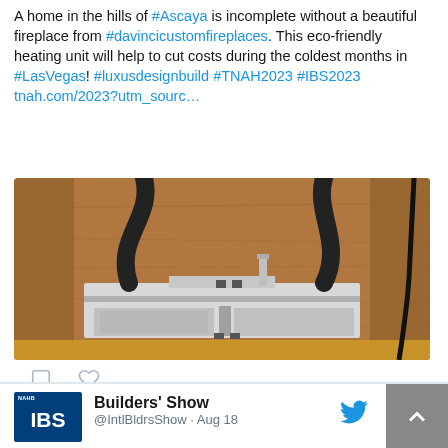A home in the hills of #Ascaya is incomplete without a beautiful fireplace from #davincicustomfireplaces. This eco-friendly heating unit will help to cut costs during the coldest months in #LasVegas! #luxusdesignbuild #TNAH2023 #IBS2023 tnah.com/2023?utm_sourc…
[Figure (photo): Photo of a fireplace heating unit installed inside a wood-framed wall cavity, showing metal appliance with hoses and venting tubes against an OSB background.]
Builders' Show @IntlBldrsShow · Aug 18